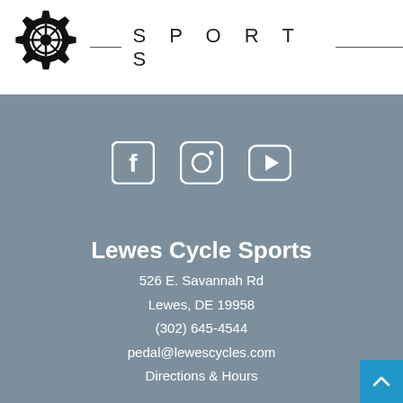[Figure (logo): Lewes Cycle Sports gear logo with bicycle wheel in center and 'estd 1999' text around gear]
SPORTS
[Figure (illustration): Social media icons: Facebook, Instagram, YouTube in white on grey background]
Lewes Cycle Sports
526 E. Savannah Rd
Lewes, DE 19958
(302) 645-4544
pedal@lewescycles.com
Directions & Hours